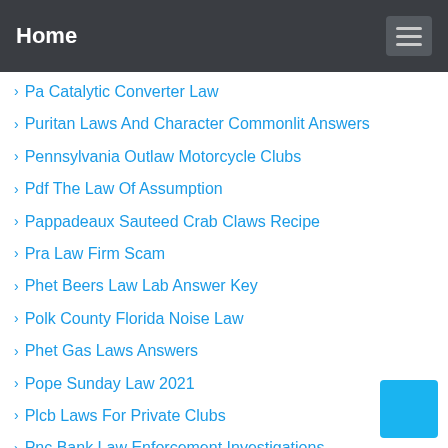Home
Pa Catalytic Converter Law
Puritan Laws And Character Commonlit Answers
Pennsylvania Outlaw Motorcycle Clubs
Pdf The Law Of Assumption
Pappadeaux Sauteed Crab Claws Recipe
Pra Law Firm Scam
Phet Beers Law Lab Answer Key
Polk County Florida Noise Law
Phet Gas Laws Answers
Pope Sunday Law 2021
Plcb Laws For Private Clubs
Pnc Bank Law Enforcement Investigations